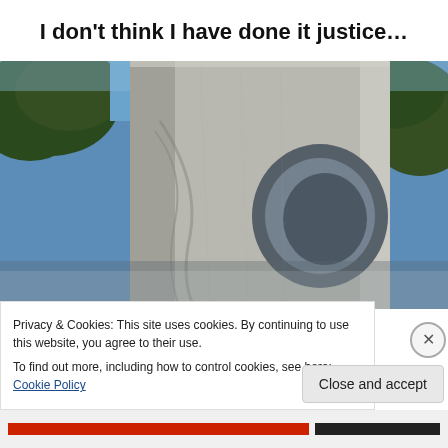I don't think I have done it justice…
[Figure (photo): Close-up photograph of a concrete sculpture with carved abstract forms, including a circular hole, set against a blue sky with trees in the background.]
Privacy & Cookies: This site uses cookies. By continuing to use this website, you agree to their use.
To find out more, including how to control cookies, see here: Cookie Policy
Close and accept